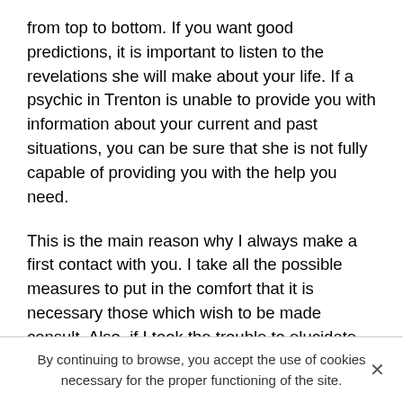from top to bottom. If you want good predictions, it is important to listen to the revelations she will make about your life. If a psychic in Trenton is unable to provide you with information about your current and past situations, you can be sure that she is not fully capable of providing you with the help you need.
This is the main reason why I always make a first contact with you. I take all the possible measures to put in the comfort that it is necessary those which wish to be made consult. Also, if I took the trouble to elucidate the parameters of the clairvoyance that I practice, it is because it is essential that the one who grants my services can have an idea on my working strategy. Usually, before starting the actual consultation, I try to get information about the day you were born at the moment we establish our first connection or the day of the consultation. Be
By continuing to browse, you accept the use of cookies necessary for the proper functioning of the site.